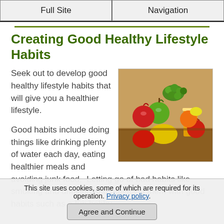Full Site | Navigation
Creating Good Healthy Lifestyle Habits
Seek out to develop good healthy lifestyle habits that will give you a healthier lifestyle.
[Figure (photo): A bowl of colorful fresh fruits and vegetables with a glass of orange juice]
Good habits include doing things like drinking plenty of water each day, eating healthier meals and avoiding junk food. Letting go of bad habits like smoking and drinking and replacing them with good habits such as a fun hobby
This site uses cookies, some of which are required for its operation. Privacy policy.